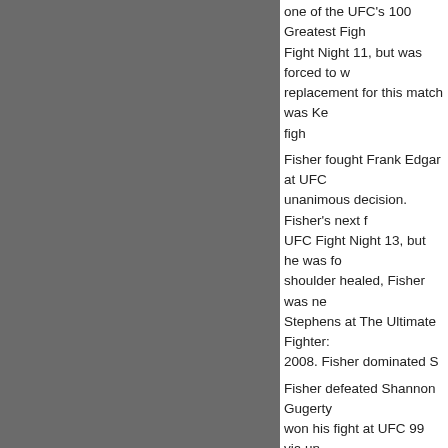one of the UFC's 100 Greatest Fights. Fight Night 11, but was forced to w replacement for this match was Ke fight
Fisher fought Frank Edgar at UFC unanimous decision. Fisher's next f UFC Fight Night 13, but he was f shoulder healed, Fisher was ne Stephens at The Ultimate Fighter: 2008. Fisher dominated S
Fisher defeated Shannon Gugerty won his fight at UFC 99 via un
[Figure (screenshot): Facebook My Page button (blue rounded rectangle with circle icon and 'My Page' text)]
[Figure (screenshot): Facebook Like button (blue) with 'Sign Up' link and text 'to see what your frien']
[Figure (screenshot): Social sharing icons: Facebook (blue), Twitter (light blue), Mail (dark), Plus/Share (dark)]
Tags: aerobics, bjj, blog, boxing, b cardio, Charleston, conditioning, di leather, jiu jitsu, kickboxing, kids k